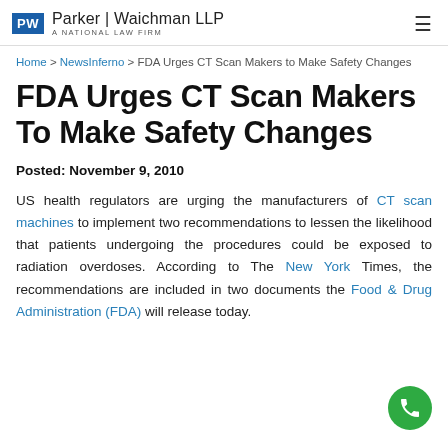Parker | Waichman LLP — A National Law Firm
Home > NewsInferno > FDA Urges CT Scan Makers to Make Safety Changes
FDA Urges CT Scan Makers To Make Safety Changes
Posted: November 9, 2010
US health regulators are urging the manufacturers of CT scan machines to implement two recommendations to lessen the likelihood that patients undergoing the procedures could be exposed to radiation overdoses. According to The New York Times, the recommendations are included in two documents the Food & Drug Administration (FDA) will release today.